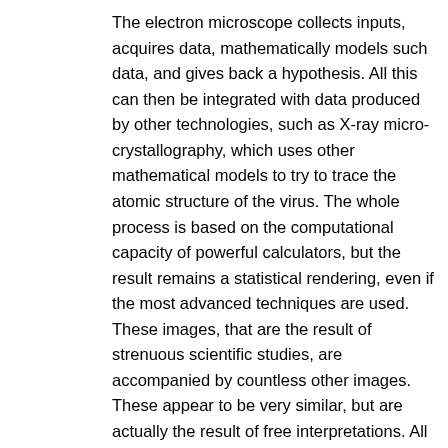The electron microscope collects inputs, acquires data, mathematically models such data, and gives back a hypothesis. All this can then be integrated with data produced by other technologies, such as X-ray micro-crystallography, which uses other mathematical models to try to trace the atomic structure of the virus. The whole process is based on the computational capacity of powerful calculators, but the result remains a statistical rendering, even if the most advanced techniques are used. These images, that are the result of strenuous scientific studies, are accompanied by countless other images. These appear to be very similar, but are actually the result of free interpretations. All these representations coexist within our media sphere, which in turn can be imagined as an extension of our collective psyche. In parallel to the advancing of the virus, its representations appear in scientific journals, on the internet and on our news outlets, invading even the media space that is not physically